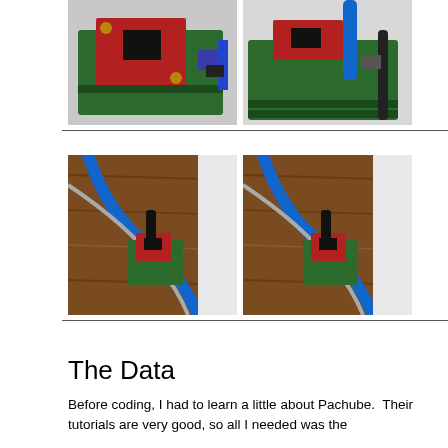[Figure (photo): Two photos side by side: left shows a red Arduino/microcontroller board on a green PCB with USB cable; right shows a similar setup with a blue ethernet cable connected.]
[Figure (photo): Two photos side by side: both show a small red/green microcontroller board on a wooden floor with blue ethernet and gray cables, viewed from above.]
The Data
Before coding, I had to learn a little about Pachube.  Their tutorials are very good, so all I needed was the